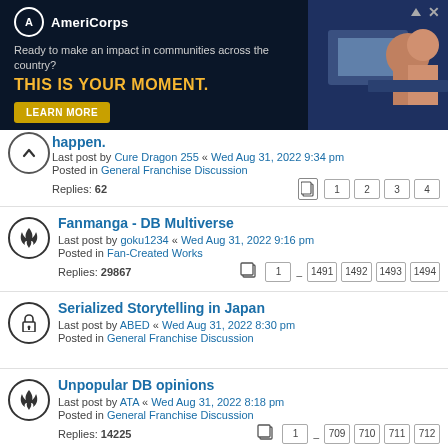[Figure (screenshot): AmeriCorps advertisement banner: dark navy background, AmeriCorps logo, text 'Ready to make an impact in communities across the country? THIS IS YOUR MOMENT.' with LEARN MORE button, and photo of people on right side]
happen. Last post by Cure Dragon 255 « Wed Aug 31, 2022 9:34 pm Posted in General Franchise Discussion Replies: 62
Fanmanga - DB Multiverse Last post by goku1234 « Wed Aug 31, 2022 9:16 pm Posted in Fan-Created Works Replies: 29867
Serialized Storytelling in Japan Last post by ABED « Wed Aug 31, 2022 8:30 pm Posted in General Franchise Discussion
Unpopular DB opinions Last post by ATA « Wed Aug 31, 2022 8:18 pm Posted in General Franchise Discussion Replies: 14225
Frieza now stronger than Beerus? Last post by ATA « Wed Aug 31, 2022 8:13 pm Posted in In-Universe Discussion Replies: 12
Dragon Ball Recut [COMPLETE], Dragon Ball Kai Recut